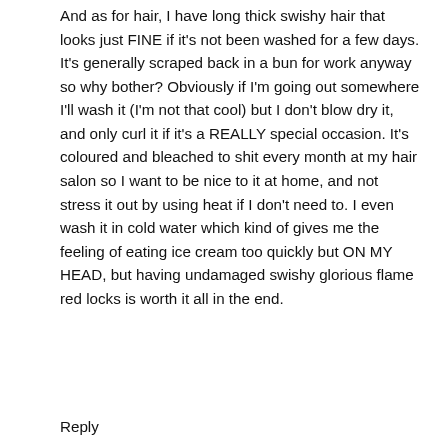And as for hair, I have long thick swishy hair that looks just FINE if it's not been washed for a few days. It's generally scraped back in a bun for work anyway so why bother? Obviously if I'm going out somewhere I'll wash it (I'm not that cool) but I don't blow dry it, and only curl it if it's a REALLY special occasion. It's coloured and bleached to shit every month at my hair salon so I want to be nice to it at home, and not stress it out by using heat if I don't need to. I even wash it in cold water which kind of gives me the feeling of eating ice cream too quickly but ON MY HEAD, but having undamaged swishy glorious flame red locks is worth it all in the end.
Reply